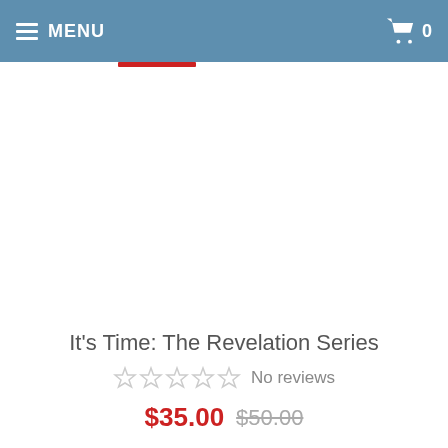MENU  0
It's Time: The Revelation Series
No reviews
$35.00  $50.00